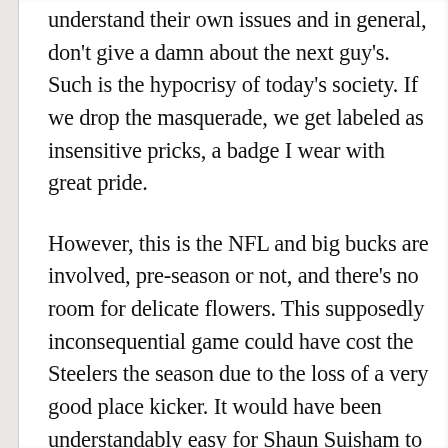understand their own issues and in general, don't give a damn about the next guy's. Such is the hypocrisy of today's society. If we drop the masquerade, we get labeled as insensitive pricks, a badge I wear with great pride.
However, this is the NFL and big bucks are involved, pre-season or not, and there's no room for delicate flowers. This supposedly inconsequential game could have cost the Steelers the season due to the loss of a very good place kicker. It would have been understandably easy for Shaun Suisham to pull up and not